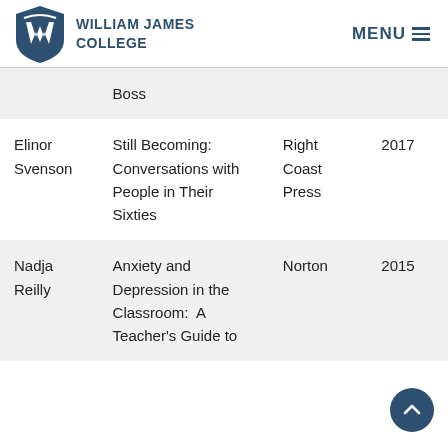[Figure (logo): William James College shield logo with college name and MENU navigation button]
| Author | Title | Publisher | Year |
| --- | --- | --- | --- |
|  | Boss |  |  |
| Elinor Svenson | Still Becoming: Conversations with People in Their Sixties | Right Coast Press | 2017 |
| Nadja Reilly | Anxiety and Depression in the Classroom: A Teacher's Guide to | Norton | 2015 |